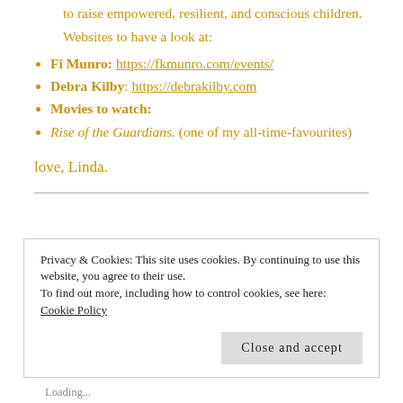to raise empowered, resilient, and conscious children.
Websites to have a look at:
Fi Munro: https://fkmunro.com/events/
Debra Kilby: https://debrakilby.com
Movies to watch:
Rise of the Guardians. (one of my all-time-favourites)
love, Linda.
Privacy & Cookies: This site uses cookies. By continuing to use this website, you agree to their use.
To find out more, including how to control cookies, see here: Cookie Policy
Close and accept
Loading...